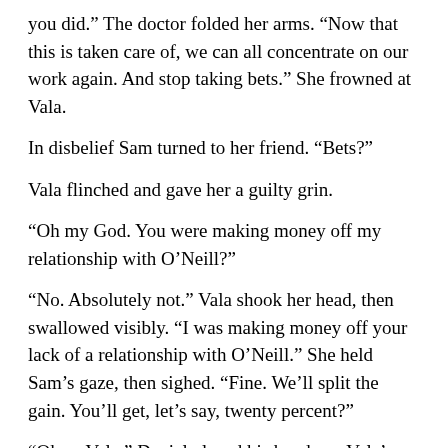you did.” The doctor folded her arms. “Now that this is taken care of, we can all concentrate on our work again. And stop taking bets.” She frowned at Vala.
In disbelief Sam turned to her friend. “Bets?”
Vala flinched and gave her a guilty grin.
“Oh my God. You were making money off my relationship with O’Neill?”
“No. Absolutely not.” Vala shook her head, then swallowed visibly. “I was making money off your lack of a relationship with O’Neill.” She held Sam’s gaze, then sighed. “Fine. We’ll split the gain. You’ll get, let’s say, twenty percent?”
“Okay, Vala.” Daniel placed his hands on Vala’s shoulders and turned her to face him. “Remember what we talked about yesterday? About treating friends with respect? Not stealing artifacts from them? Or making inappropriate bets?”